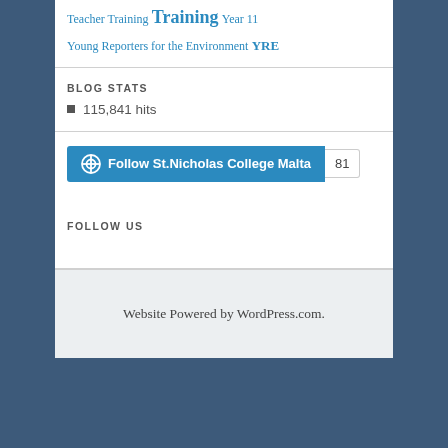Teacher Training Training Year 11
Young Reporters for the Environment YRE
BLOG STATS
115,841 hits
[Figure (other): Follow St.Nicholas College Malta WordPress follow button with count badge showing 81]
FOLLOW US
Website Powered by WordPress.com.